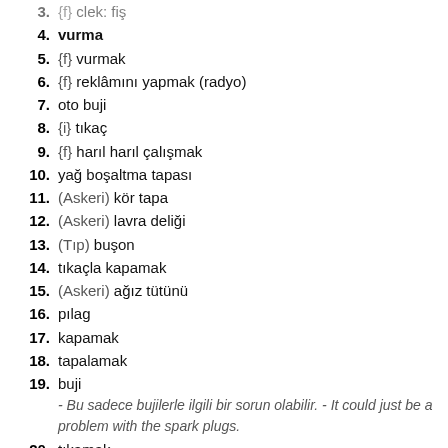3. {f} clek: fiş
4. vurma
5. {f} vurmak
6. {f} reklâmını yapmak (radyo)
7. oto buji
8. {i} tıkaç
9. {f} harıl harıl çalışmak
10. yağ boşaltma tapası
11. (Askeri) kör tapa
12. (Askeri) lavra deliği
13. (Tıp) buşon
14. tıkaçla kapamak
15. (Askeri) ağız tütünü
16. pılag
17. kapamak
18. tapalamak
19. buji - Bu sadece bujilerle ilgili bir sorun olabilir. - It could just be a problem with the spark plugs.
20. tıkamak - Bu deliği tıkamak için bir şey bulmalıyız. - We must find something to plug up this hole.